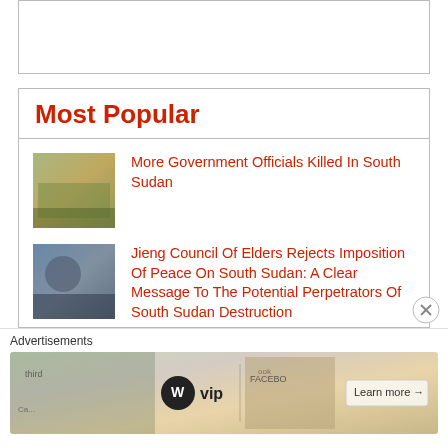[Figure (other): Empty top banner box]
Most Popular
More Government Officials Killed In South Sudan
Jieng Council Of Elders Rejects Imposition Of Peace On South Sudan: A Clear Message To The Potential Perpetrators Of South Sudan Destruction
1991 Has Become a Source of Employment for Regime's Supporters
Advertisements
[Figure (screenshot): WordPress VIP advertisement banner with Learn more button]